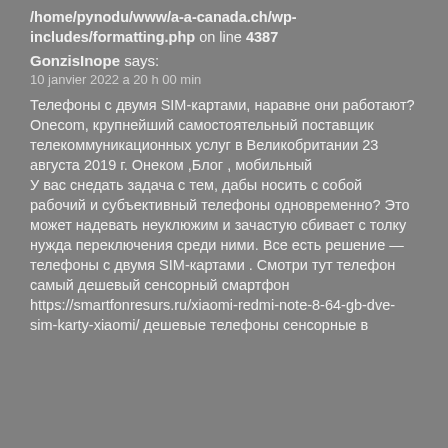/home/pynodu/www/a-a-canada.ch/wp-includes/formatting.php on line 4387
GonzisInope says:
10 janvier 2022 a 20 h 00 min
Телефоны с двумя SIM-картами, наравне они работают?
Onecom, крупнейший самостоятельный поставщик телекоммуникационных услуг в Великобритании 23 августа 2019 г. Онеком ,Блог , мобильный
У вас снедать задача с тем, дабы носить с собой рабочий и субъективный телефоны одновременно? Это может надевать неуклюжим и зачастую сбивает с толку нужда переключения среди ними. Все есть решение — телефоны с двумя SIM-картами . Смотри тут телефон самый дешевый сенсорный смартфон https://smartfonresurs.ru/xiaomi-redmi-note-8-64-gb-dve-sim-karty-xiaomi/ дешевые телефоны сенсорные в